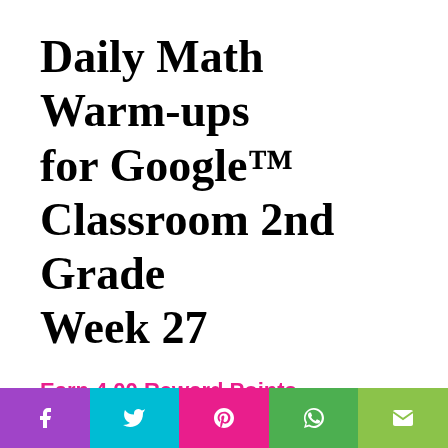Daily Math Warm-ups for Google™ Classroom 2nd Grade Week 27
Earn 4.00 Reward Points
$4.00
[Figure (infographic): Social share buttons row: Facebook (purple), Pinterest (pink), Twitter (cyan), Email (green), and a shares counter showing 0 SHARES]
[Figure (infographic): Bottom share bar with Facebook (purple), Twitter (cyan), Pinterest (pink), WhatsApp (green), Email (yellow-green) buttons]